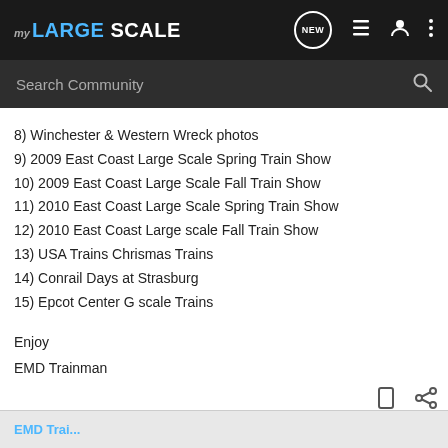MY LARGE SCALE
8) Winchester & Western Wreck photos
9) 2009 East Coast Large Scale Spring Train Show
10) 2009 East Coast Large Scale Fall Train Show
11) 2010 East Coast Large Scale Spring Train Show
12) 2010 East Coast Large scale Fall Train Show
13) USA Trains Chrismas Trains
14) Conrail Days at Strasburg
15) Epcot Center G scale Trains
Enjoy
EMD Trainman